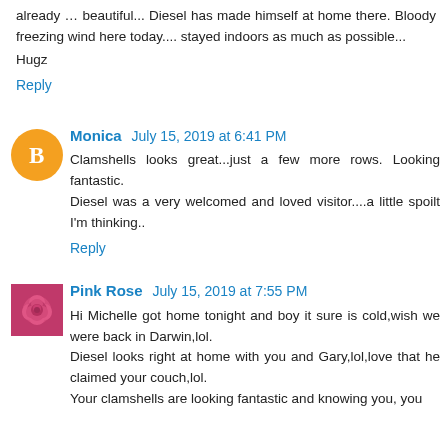already … beautiful... Diesel has made himself at home there. Bloody freezing wind here today.... stayed indoors as much as possible...
Hugz
Reply
Monica  July 15, 2019 at 6:41 PM
Clamshells looks great...just a few more rows. Looking fantastic.
Diesel was a very welcomed and loved visitor....a little spoilt I'm thinking..
Reply
Pink Rose  July 15, 2019 at 7:55 PM
Hi Michelle got home tonight and boy it sure is cold,wish we were back in Darwin,lol.
Diesel looks right at home with you and Gary,lol,love that he claimed your couch,lol.
Your clamshells are looking fantastic and knowing you, you